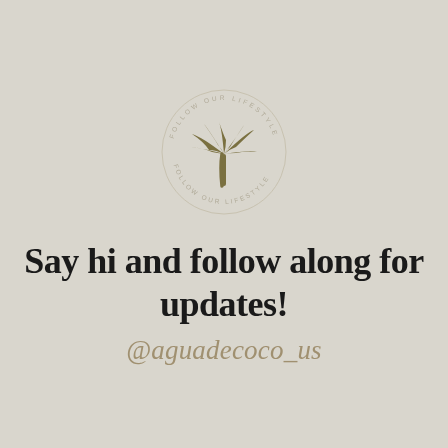[Figure (logo): Circular badge logo with a palm tree silhouette in olive/gold color in the center, surrounded by circular text reading 'FOLLOW OUR LIFESTYLE' and other text around the ring, on a beige background.]
Say hi and follow along for updates!
@aguadecoco_us